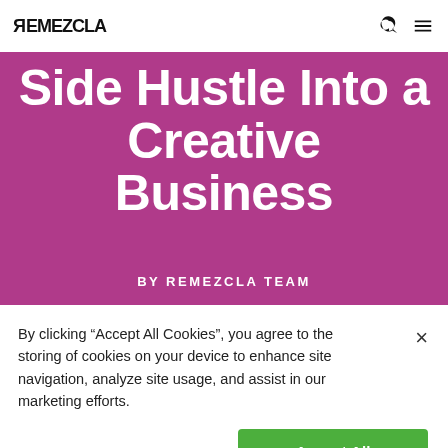REMEZCLA
Side Hustle Into a Creative Business
BY REMEZCLA TEAM
[Figure (photo): Photo of a person with curly dark hair shown from behind, displayed within a dark-framed screen/monitor, on purple background]
By clicking “Accept All Cookies”, you agree to the storing of cookies on your device to enhance site navigation, analyze site usage, and assist in our marketing efforts.
Cookies Settings   Accept All Cookies